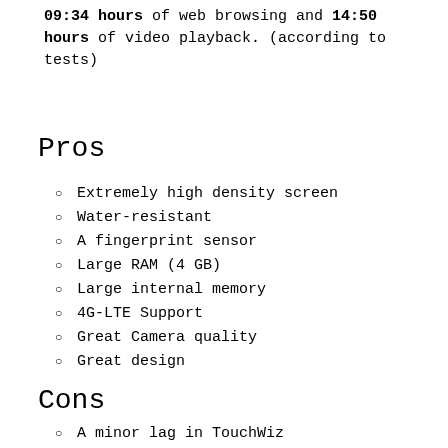09:34 hours of web browsing and 14:50 hours of video playback. (according to tests)
Pros
Extremely high density screen
Water-resistant
A fingerprint sensor
Large RAM (4 GB)
Large internal memory
4G-LTE Support
Great Camera quality
Great design
Cons
A minor lag in TouchWiz
There is SD card slot but the SIM 2...